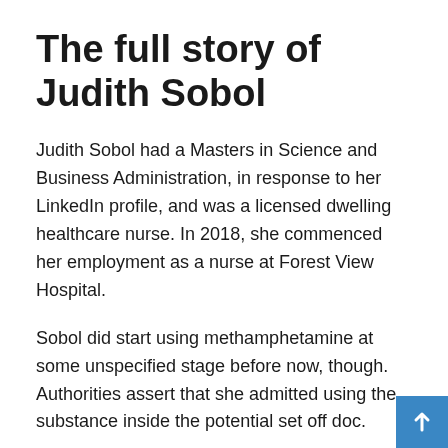The full story of Judith Sobol
Judith Sobol had a Masters in Science and Business Administration, in response to her LinkedIn profile, and was a licensed dwelling healthcare nurse. In 2018, she commenced her employment as a nurse at Forest View Hospital.
Sobol did start using methamphetamine at some unspecified stage before now, though. Authorities assert that she admitted using the substance inside the potential set off doc.
According to ABC, Sobol’s accountability for the toddler, who’s three years outdated, was merely one different course of. But in response to Michigan authorities, Sobol acknowledged using meth for 4 straight days. At the scene,